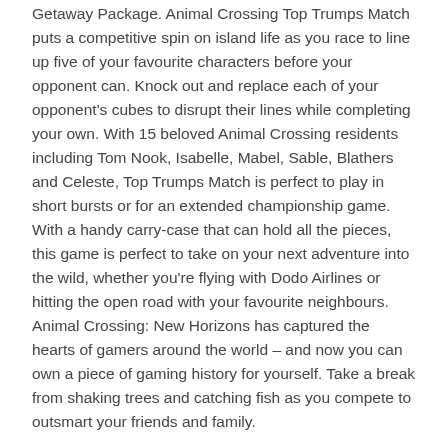Getaway Package. Animal Crossing Top Trumps Match puts a competitive spin on island life as you race to line up five of your favourite characters before your opponent can. Knock out and replace each of your opponent's cubes to disrupt their lines while completing your own. With 15 beloved Animal Crossing residents including Tom Nook, Isabelle, Mabel, Sable, Blathers and Celeste, Top Trumps Match is perfect to play in short bursts or for an extended championship game. With a handy carry-case that can hold all the pieces, this game is perfect to take on your next adventure into the wild, whether you're flying with Dodo Airlines or hitting the open road with your favourite neighbours. Animal Crossing: New Horizons has captured the hearts of gamers around the world – and now you can own a piece of gaming history for yourself. Take a break from shaking trees and catching fish as you compete to outsmart your friends and family.
Attributes
Age: 4 Years+
Brand: Animal Crossing, Nintendo, Top Trumps, Winning